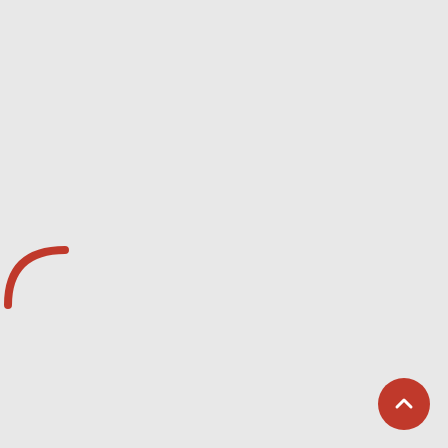[Figure (logo): Partial red arc/logo visible at top-left corner of page]
Anonymous – May 27, 2022 ★☆☆☆☆
Rubbery chicken. Soggy mashed potatoes. Cooked in oven as suggested. Awful
Add a review
Your email address will not be published. Required fields are marked *
Your rating *
Your review *